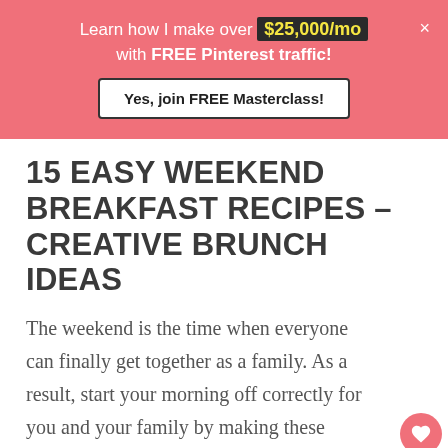Learn how I make over $25,000/mo with FREE Pinterest traffic! Yes, join FREE Masterclass!
15 EASY WEEKEND BREAKFAST RECIPES – CREATIVE BRUNCH IDEAS
The weekend is the time when everyone can finally get together as a family. As a result, start your morning off correctly for you and your family by making these simple breakfast recipes that everyone will like!